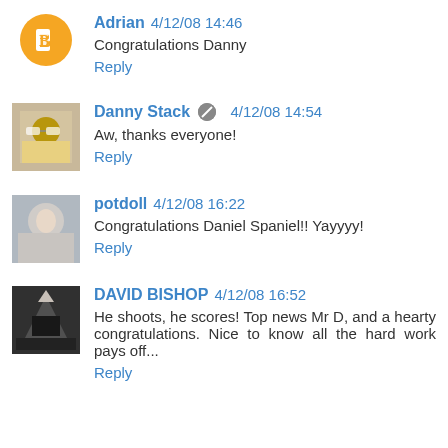Adrian 4/12/08 14:46
Congratulations Danny
Reply
Danny Stack 4/12/08 14:54
Aw, thanks everyone!
Reply
potdoll 4/12/08 16:22
Congratulations Daniel Spaniel!! Yayyyy!
Reply
DAVID BISHOP 4/12/08 16:52
He shoots, he scores! Top news Mr D, and a hearty congratulations. Nice to know all the hard work pays off...
Reply